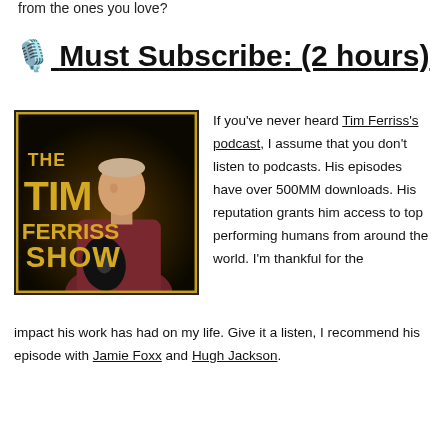from the ones you love?
🎙️ Must Subscribe: (2 hours)
[Figure (illustration): The Tim Ferriss Show podcast cover art showing a man in a red shirt holding a vinyl record, with bold gold text reading THE TIM FERRISS SHOW on a dark background]
If you've never heard Tim Ferriss's podcast, I assume that you don't listen to podcasts. His episodes have over 500MM downloads. His reputation grants him access to top performing humans from around the world. I'm thankful for the impact his work has had on my life. Give it a listen, I recommend his episode with Jamie Foxx and Hugh Jackson.